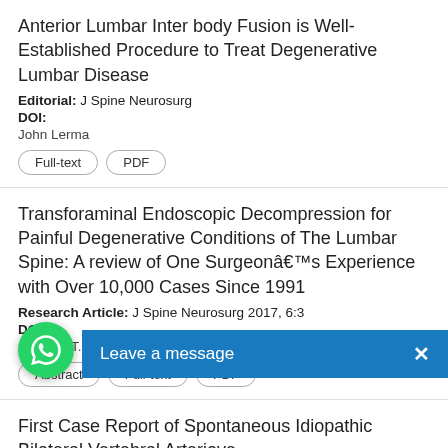Anterior Lumbar Inter body Fusion is Well-Established Procedure to Treat Degenerative Lumbar Disease
Editorial: J Spine Neurosurg
DOI:
John Lerma
Full-text  PDF
Transforaminal Endoscopic Decompression for Painful Degenerative Conditions of The Lumbar Spine: A review of One Surgeonâ€™s Experience with Over 10,000 Cases Since 1991
Research Article: J Spine Neurosurg 2017, 6:3
DOI:
Anthony T. Yeung
Abstract  Full-text  PDF
First Case Report of Spontaneous Idiopathic Bilateral Vertebral Arteriove...